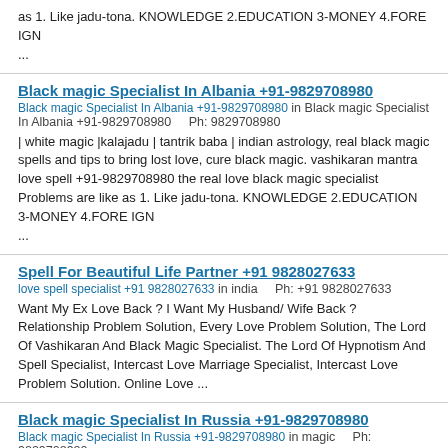as 1. Like jadu-tona. KNOWLEDGE 2.EDUCATION 3-MONEY 4.FORE IGN ...
Black magic Specialist In Albania +91-9829708980
Black magic Specialist In Albania +91-9829708980 in Black magic Specialist In Albania +91-9829708980    Ph: 9829708980
| white magic |kalajadu | tantrik baba | indian astrology, real black magic spells and tips to bring lost love, cure black magic. vashikaran mantra love spell +91-9829708980 the real love black magic specialist Problems are like as 1. Like jadu-tona. KNOWLEDGE 2.EDUCATION 3-MONEY 4.FORE IGN ...
Spell For Beautiful Life Partner +91 9828027633
love spell specialist +91 9828027633 in india    Ph: +91 9828027633
Want My Ex Love Back ? I Want My Husband/ Wife Back ? Relationship Problem Solution, Every Love Problem Solution, The Lord Of Vashikaran And Black Magic Specialist. The Lord Of Hypnotism And Spell Specialist, Intercast Love Marriage Specialist, Intercast Love Problem Solution. Online Love ...
Black magic Specialist In Russia +91-9829708980
Black magic Specialist In Russia +91-9829708980 in magic    Ph: 9829708980
| white magic |kalajadu | tantrik baba | indian astrology, real black magic